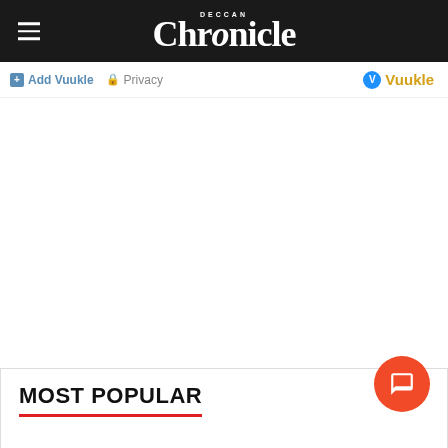Deccan Chronicle
Add Vuukle  Privacy  Vuukle
MOST POPULAR